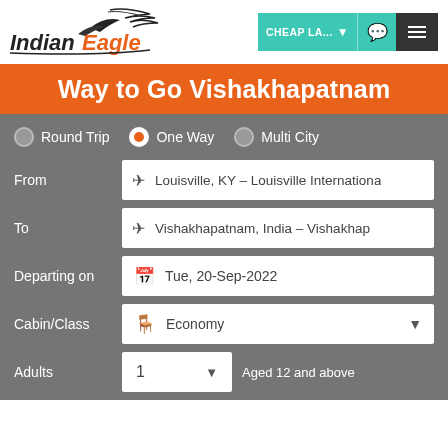[Figure (logo): Indian Eagle logo with stylized eagle graphic and italic text 'Indian Eagle']
CHEAP LA... ▼ 💬 ≡
Way to Go Vishakhapatnam
Round Trip   ● One Way   Multi City
From: Louisville, KY – Louisville Internationa
To: Vishakhapatnam, India – Vishakhap
Departing on: Tue, 20-Sep-2022
Cabin/Class: Economy
Adults: 1   Aged 12 and above